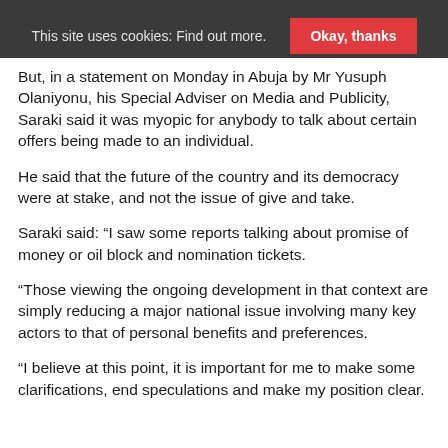This site uses cookies: Find out more. Okay, thanks
But, in a statement on Monday in Abuja by Mr Yusuph Olaniyonu, his Special Adviser on Media and Publicity, Saraki said it was myopic for anybody to talk about certain offers being made to an individual.
He said that the future of the country and its democracy were at stake, and not the issue of give and take.
Saraki said: “I saw some reports talking about promise of money or oil block and nomination tickets.
“Those viewing the ongoing development in that context are simply reducing a major national issue involving many key actors to that of personal benefits and preferences.
“I believe at this point, it is important for me to make some clarifications, end speculations and make my position clear.